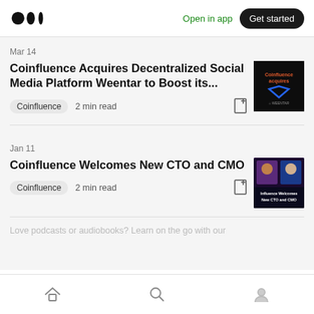Medium logo | Open in app | Get started
Mar 14
Coinfluence Acquires Decentralized Social Media Platform Weentar to Boost its...
Coinfluence  2 min read
[Figure (photo): Dark thumbnail image with Coinfluence acquires Weentar logo text]
Jan 11
Coinfluence Welcomes New CTO and CMO
Coinfluence  2 min read
[Figure (photo): Purple/dark thumbnail showing two people with text Influence Welcomes New CTO and CMO]
Love podcasts or audiobooks? Learn on the go with our
Home | Search | Profile